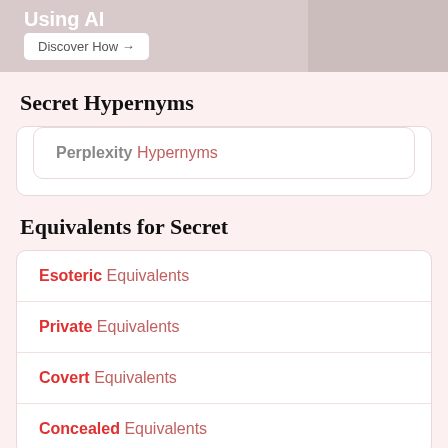[Figure (other): Advertisement banner with 'Using AI' text, a 'Discover How →' button, and a figure on the right side]
Secret Hypernyms
Perplexity Hypernyms
Equivalents for Secret
Esoteric Equivalents
Private Equivalents
Covert Equivalents
Concealed Equivalents